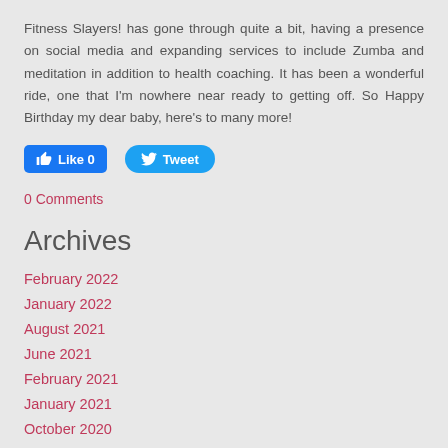Fitness Slayers! has gone through quite a bit, having a presence on social media and expanding services to include Zumba and meditation in addition to health coaching. It has been a wonderful ride, one that I'm nowhere near ready to getting off. So Happy Birthday my dear baby, here's to many more!
[Figure (other): Facebook Like button showing 'Like 0' and Twitter Tweet button]
0 Comments
Archives
February 2022
January 2022
August 2021
June 2021
February 2021
January 2021
October 2020